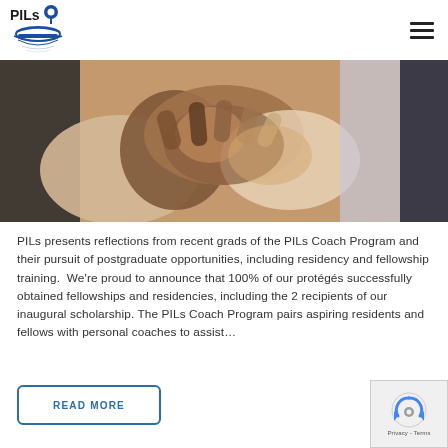PILs logo and navigation hamburger menu
[Figure (photo): Photo of multiple people of different ethnicities stacking hands together in a teamwork gesture, close-up view]
PILs presents reflections from recent grads of the PILs Coach Program and their pursuit of postgraduate opportunities, including residency and fellowship training. We're proud to announce that 100% of our protégés successfully obtained fellowships and residencies, including the 2 recipients of our inaugural scholarship. The PILs Coach Program pairs aspiring residents and fellows with personal coaches to assist...
READ MORE